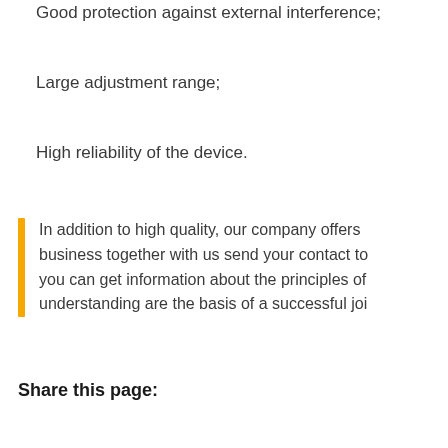Good protection against external interference;
Large adjustment range;
High reliability of the device.
In addition to high quality, our company offers business together with us send your contact to you can get information about the principles of understanding are the basis of a successful joi
Share this page: